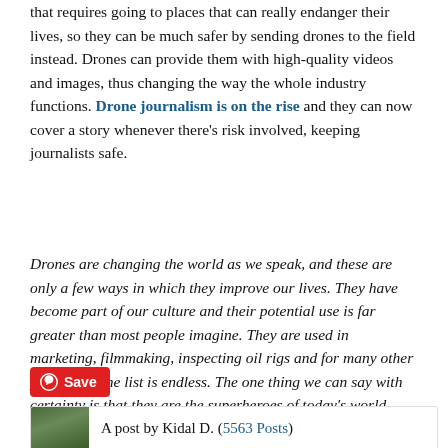that requires going to places that can really endanger their lives, so they can be much safer by sending drones to the field instead. Drones can provide them with high-quality videos and images, thus changing the way the whole industry functions. Drone journalism is on the rise and they can now cover a story whenever there's risk involved, keeping journalists safe.
Drones are changing the world as we speak, and these are only a few ways in which they improve our lives. They have become part of our culture and their potential use is far greater than most people imagine. They are used in marketing, filmmaking, inspecting oil rigs and for many other purposes – the list is endless. The one thing we can say with certainty is that they are the superheroes of today's world.
[Figure (other): Pinterest Save button (red rounded rectangle with Pinterest logo icon and 'Save' text in white)]
A post by Kidal D. (5563 Posts)